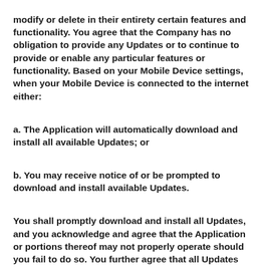modify or delete in their entirety certain features and functionality. You agree that the Company has no obligation to provide any Updates or to continue to provide or enable any particular features or functionality. Based on your Mobile Device settings, when your Mobile Device is connected to the internet either:
a. The Application will automatically download and install all available Updates; or
b. You may receive notice of or be prompted to download and install available Updates.
You shall promptly download and install all Updates, and you acknowledge and agree that the Application or portions thereof may not properly operate should you fail to do so. You further agree that all Updates will be deemed part of the Application and be subject to all terms and conditions of this Agreement. If you do not download and install all Updates, then the Company